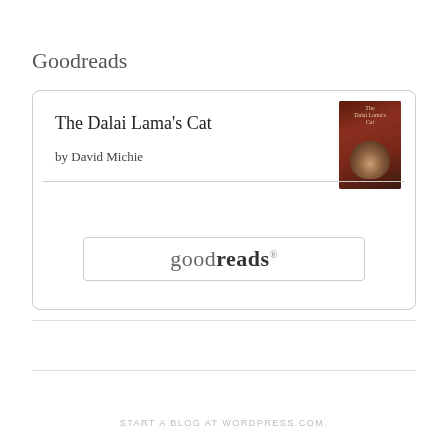Goodreads
[Figure (screenshot): Goodreads widget card showing 'The Dalai Lama's Cat' by David Michie with a book cover thumbnail on the right and a Goodreads button centered below a horizontal divider]
START A BLOG AT WORDPRESS.COM.